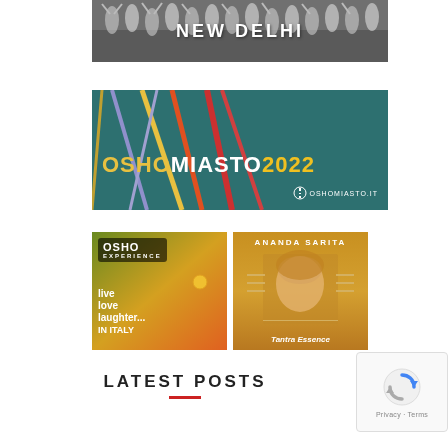[Figure (photo): Banner image showing a crowd of people in white clothing with text NEW DELHI overlaid]
[Figure (illustration): OSHOMIASTO2022 promotional banner with colorful diagonal lines on teal background and oshomiasto.it logo]
[Figure (illustration): OSHO EXPERIENCE promotional image with text: live love laughter... IN ITALY on colorful gradient background]
[Figure (photo): ANANDA SARITA Tantra Essence promotional image with woman's portrait on golden background]
LATEST POSTS